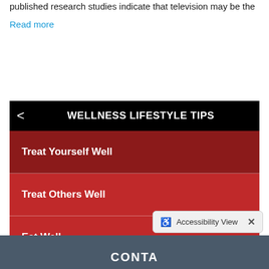published research studies indicate that television may be the
Read more
[Figure (screenshot): Mobile app screenshot showing 'WELLNESS LIFESTYLE TIPS' navigation screen with a black header, back arrow, and three red menu items: 'Treat Yourself Well' (dark red, selected), 'Treat Others Well' (red), and 'Eat Well' (red).]
CONTA...
Accessibility View  ×